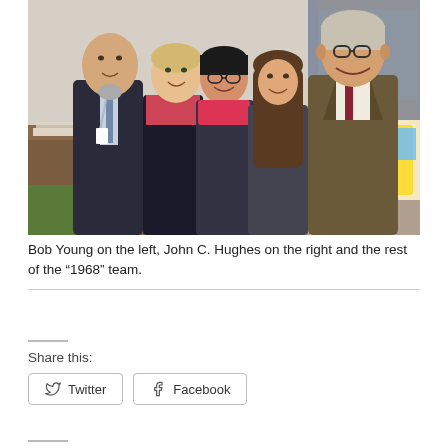[Figure (photo): Group photo of five people smiling indoors. Bob Young on the left (bald man with goatee, dark suit, lanyard), John C. Hughes on the right (older man with glasses, brown tweed jacket). Three women in the middle. Background shows a lobby or event space with colorful displays.]
Bob Young on the left, John C. Hughes on the right and the rest of the “1968” team.
Share this:
Twitter
Facebook